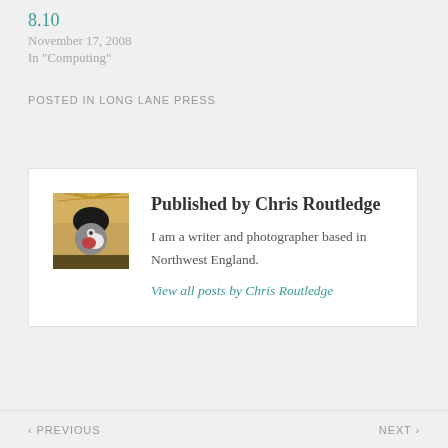8.10
November 17, 2008
In "Computing"
POSTED IN LONG LANE PRESS
[Figure (photo): Close-up photo of a bird (African crowned crane) showing its golden crown feathers and distinctive head markings]
Published by Chris Routledge
I am a writer and photographer based in Northwest England.
View all posts by Chris Routledge
‹ PREVIOUS    NEXT ›